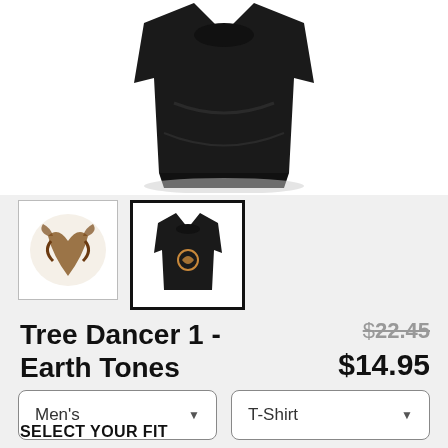[Figure (photo): Black t-shirt folded/draped product photo on white background]
[Figure (photo): Thumbnail 1: Tree dancer illustration (brown/gold tones on white)]
[Figure (photo): Thumbnail 2: Black t-shirt with tree dancer logo, selected (black border)]
Tree Dancer 1 - Earth Tones
$22.45 $14.95
Men's
T-Shirt
SELECT YOUR FIT